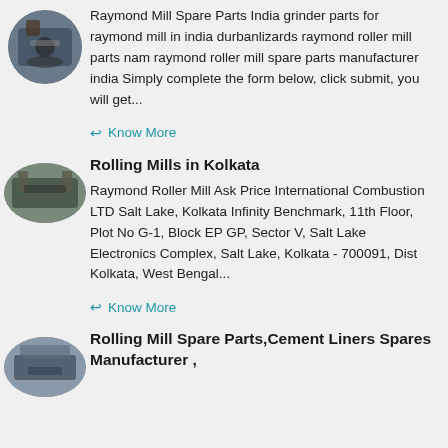[Figure (photo): Circular thumbnail photo of industrial mill machinery]
Raymond Mill Spare Parts India grinder parts for raymond mill in india durbanlizards raymond roller mill parts nam raymond roller mill spare parts manufacturer india Simply complete the form below, click submit, you will get...
Know More
[Figure (photo): Oval thumbnail photo of rolling mill structure]
Rolling Mills in Kolkata
Raymond Roller Mill Ask Price International Combustion LTD Salt Lake, Kolkata Infinity Benchmark, 11th Floor, Plot No G-1, Block EP GP, Sector V, Salt Lake Electronics Complex, Salt Lake, Kolkata - 700091, Dist Kolkata, West Bengal...
Know More
[Figure (photo): Oval thumbnail photo of industrial plant structure]
Rolling Mill Spare Parts,Cement Liners Spares Manufacturer ,